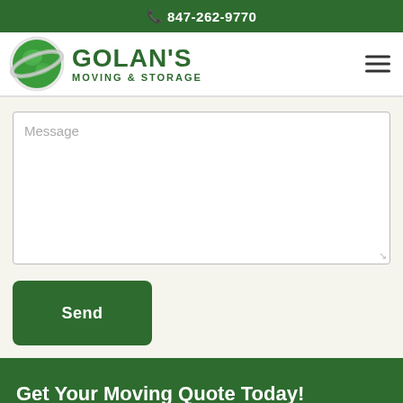📞 847-262-9770
[Figure (logo): Golan's Moving & Storage logo: green globe with orbital ring, company name in dark green bold text]
Message
Send
Get Your Moving Quote Today!
Get Quote